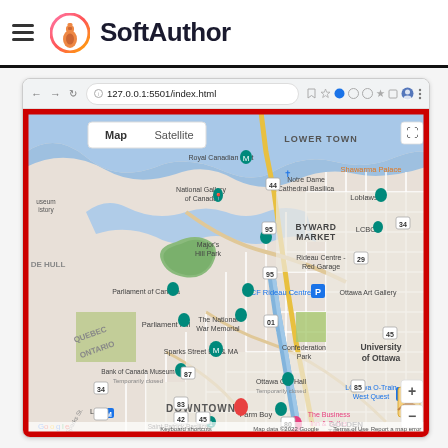SoftAuthor
[Figure (screenshot): Browser screenshot showing Google Maps of Ottawa, Canada with a red border outline, displaying landmarks including Lower Town, ByWard Market, Parliament of Canada, Parliament Hill, Downtown, University of Ottawa, Golden Triangle, and various points of interest. URL bar shows 127.0.0.1:5501/index.html]